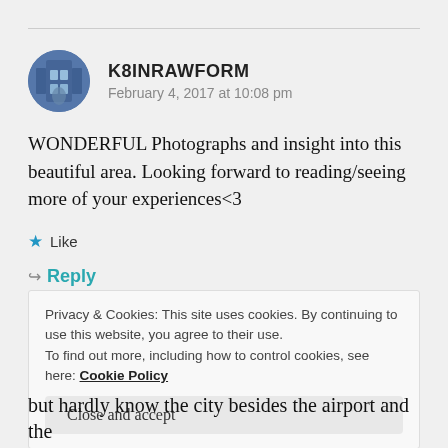[Figure (photo): Circular avatar photo of user K8INRAWFORM showing a building facade]
K8INRAWFORM
February 4, 2017 at 10:08 pm
WONDERFUL Photographs and insight into this beautiful area. Looking forward to reading/seeing more of your experiences<3
★ Like
↪ Reply
Privacy & Cookies: This site uses cookies. By continuing to use this website, you agree to their use.
To find out more, including how to control cookies, see here: Cookie Policy
Close and accept
but hardly know the city besides the airport and the